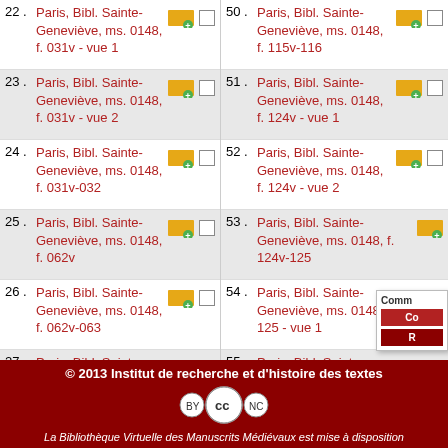22 . Paris, Bibl. Sainte-Geneviève, ms. 0148, f. 031v - vue 1
23 . Paris, Bibl. Sainte-Geneviève, ms. 0148, f. 031v - vue 2
24 . Paris, Bibl. Sainte-Geneviève, ms. 0148, f. 031v-032
25 . Paris, Bibl. Sainte-Geneviève, ms. 0148, f. 062v
26 . Paris, Bibl. Sainte-Geneviève, ms. 0148, f. 062v-063
27 . Paris, Bibl. Sainte-Geneviève, ms. 0148, f. 065v
28 . Paris, Bibl. Sainte-Geneviève, ms. 0148, f. 065v-066
50 . Paris, Bibl. Sainte-Geneviève, ms. 0148, f. 115v-116
51 . Paris, Bibl. Sainte-Geneviève, ms. 0148, f. 124v - vue 1
52 . Paris, Bibl. Sainte-Geneviève, ms. 0148, f. 124v - vue 2
53 . Paris, Bibl. Sainte-Geneviève, ms. 0148, f. 124v-125
54 . Paris, Bibl. Sainte-Geneviève, ms. 0148, f. 125 - vue 1
55 . Paris, Bibl. Sainte-Geneviève, ms. 0148, f. 125 - vue 2
© 2013 Institut de recherche et d'histoire des textes
La Bibliothèque Virtuelle des Manuscrits Médiévaux est mise à disposition